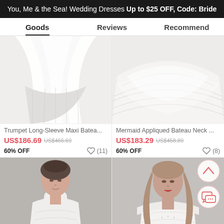You, Me & the Sea! Wedding Dresses Up to $25 OFF, Code: Bride
Goods   Reviews   Recommend
[Figure (photo): Close-up of white wedding dress fabric/skirt, left product]
[Figure (photo): Close-up of white tulle wedding dress fabric, right product]
Trumpet Long-Sleeve Maxi Batea...
US$186.69  US$466.69  60% OFF  (11)
Mermaid Appliqued Bateau Neck ...
US$183.29  US$458.89  60% OFF  (8)
[Figure (photo): Model wearing white lace wedding dress, left product photo]
[Figure (photo): Model wearing white lace wedding dress, right product photo]
Get $5 off for your first order!
CLAIM NOW
ADD TO BAG